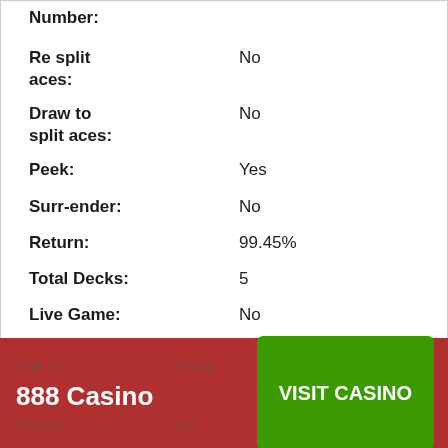Number:
Re split aces: No
Draw to split aces: No
Peek: Yes
Surr-ender: No
Return: 99.45%
Total Decks: 5
Live Game: No
Game: Live
BJ Pays: 1.5
Soft 17: Stand
Double: No
888 Casino  VISIT CASINO